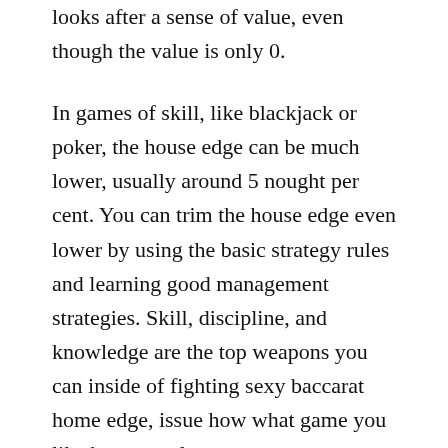looks after a sense of value, even though the value is only 0.
In games of skill, like blackjack or poker, the house edge can be much lower, usually around 5 nought per cent. You can trim the house edge even lower by using the basic strategy rules and learning good management strategies. Skill, discipline, and knowledge are the top weapons you can inside of fighting sexy baccarat home edge, issue how what game you like better to play.
Having decided which form of game you need to try first, you'll now need to determine a table or machine. The way to decide using this is to admire the bet limits. Various other words, be sensible about what you could afford to bet each and every time. Once again this can